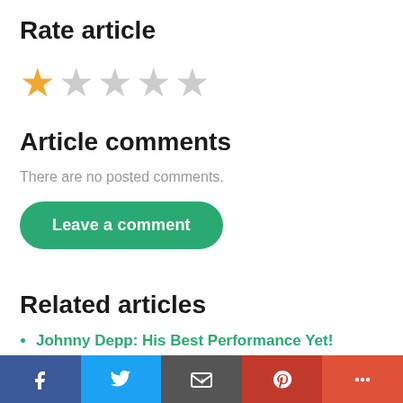Rate article
[Figure (other): Star rating widget showing 1 out of 5 stars filled (gold), 4 stars empty (grey)]
Article comments
There are no posted comments.
Leave a comment
Related articles
Johnny Depp: His Best Performance Yet!
Why Godzilla and Kong should have a rematch in
[Figure (other): Social media sharing bar with Facebook, Twitter, Email, Pinterest, and More buttons]